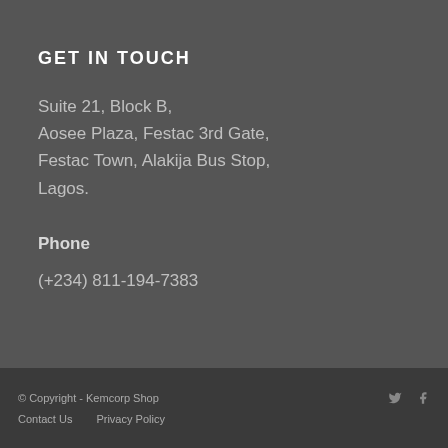GET IN TOUCH
Suite 21, Block B,
Aosee Plaza, Festac 3rd Gate,
Festac Town, Alakija Bus Stop,
Lagos.
Phone
(+234) 811-194-7383
© Copyright - Kemcorp Shop  Contact Us  Privacy Policy